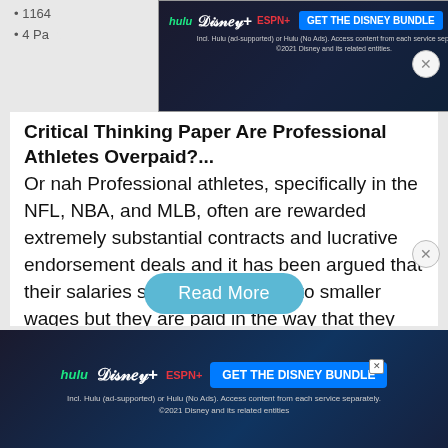[Figure (screenshot): Hulu Disney+ ESPN+ advertisement banner at top of page with 'GET THE DISNEY BUNDLE' button]
Critical Thinking Paper Are Professional Athletes Overpaid?...
Or nah Professional athletes, specifically in the NFL, NBA, and MLB, often are rewarded extremely substantial contracts and lucrative endorsement deals and it has been argued that their salaries should be reduced to smaller wages but they are paid in the way that they are for good reason; they provide the world with constant entertainment, work hard at their jobs and are only able to work for a small amount of time. In 2011, both…
Read More
[Figure (screenshot): Hulu Disney+ ESPN+ advertisement banner at bottom of page with 'GET THE DISNEY BUNDLE' button]